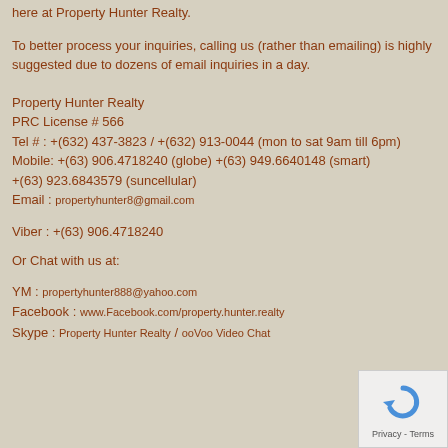here at Property Hunter Realty.
To better process your inquiries, calling us (rather than emailing) is highly suggested due to dozens of email inquiries in a day.
Property Hunter Realty
PRC License # 566
Tel # : +(632) 437-3823 / +(632) 913-0044 (mon to sat 9am till 6pm)
Mobile: +(63) 906.4718240 (globe) +(63) 949.6640148 (smart)
+(63) 923.6843579 (suncellular)
Email : propertyhunter8@gmail.com
Viber : +(63) 906.4718240
Or Chat with us at:
YM : propertyhunter888@yahoo.com
Facebook : www.Facebook.com/property.hunter.realty
Skype : Property Hunter Realty / ooVoo Video Chat
[Figure (other): reCAPTCHA privacy badge with circular arrow logo and Privacy - Terms text]